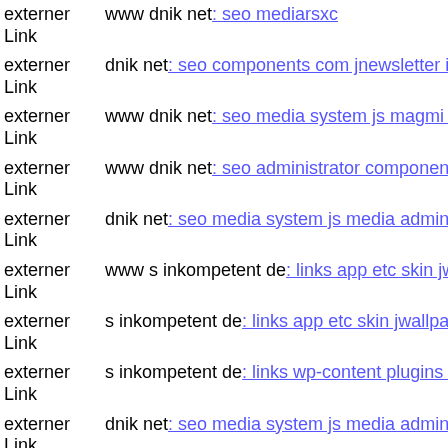externer Link  www dnik net: seo mediarsxc
externer Link  dnik net: seo components com jnewsletter includes openflas
externer Link  www dnik net: seo media system js magmi web skin media
externer Link  www dnik net: seo administrator components com alphacon
externer Link  dnik net: seo media system js media administrator wp-conte
externer Link  www s inkompetent de: links app etc skin jwallpapers files
externer Link  s inkompetent de: links app etc skin jwallpapers files pluplo
externer Link  s inkompetent de: links wp-content plugins formcraft file-u
externer Link  dnik net: seo media system js media administrator images c
externer Link  www dnik net: seo wp-content plugins gravityforms
externer Link  s inkompetent de: links admin wp-content themes bueno gi
externer Link  s inkompetent de: links wp-content skin downloader magm